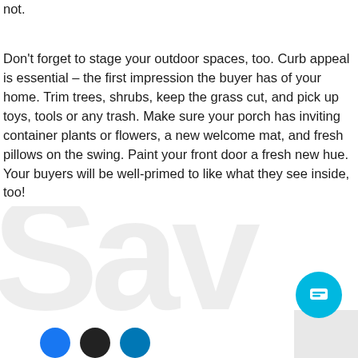not.
Don't forget to stage your outdoor spaces, too. Curb appeal is essential – the first impression the buyer has of your home. Trim trees, shrubs, keep the grass cut, and pick up toys, tools or any trash. Make sure your porch has inviting container plants or flowers, a new welcome mat, and fresh pillows on the swing. Paint your front door a fresh new hue. Your buyers will be well-primed to like what they see inside, too!
[Figure (other): Partial watermark text 'Sav' in large light gray letters, social media icons at bottom, and a cyan chat button]